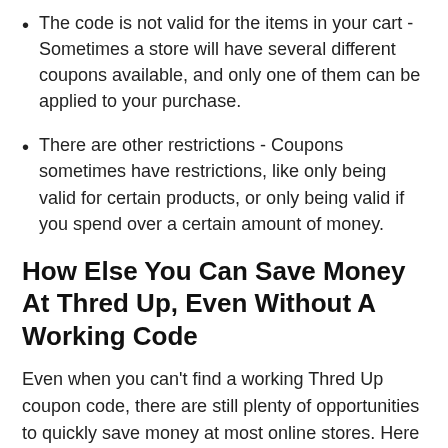The code is not valid for the items in your cart - Sometimes a store will have several different coupons available, and only one of them can be applied to your purchase.
There are other restrictions - Coupons sometimes have restrictions, like only being valid for certain products, or only being valid if you spend over a certain amount of money.
How Else You Can Save Money At Thred Up, Even Without A Working Code
Even when you can't find a working Thred Up coupon code, there are still plenty of opportunities to quickly save money at most online stores. Here are some of our best money-saving tips:
Look For An Email Or Account Sign Up Bonus